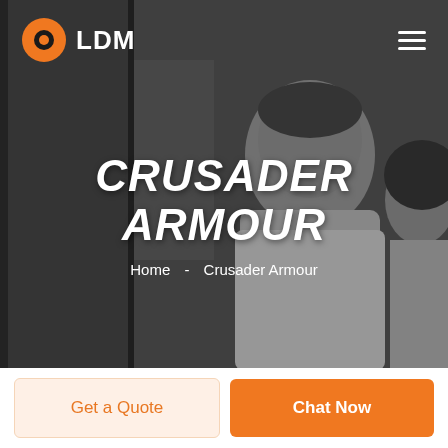[Figure (photo): Dark-overlay hero image showing a smiling couple (man in white shirt, woman partially visible), with LDM logo and hamburger menu in top navigation bar]
CRUSADER ARMOUR
Home  -  Crusader Armour
Get a Quote
Chat Now